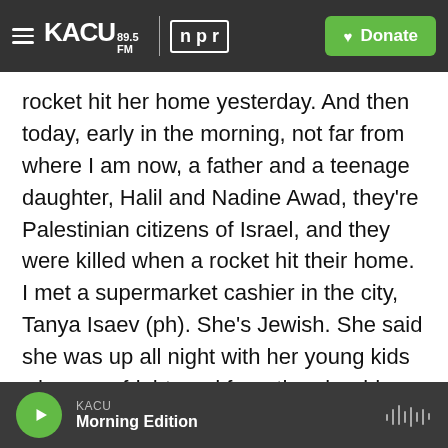KACU 89.5FM | npr | Donate
rocket hit her home yesterday. And then today, early in the morning, not far from where I am now, a father and a teenage daughter, Halil and Nadine Awad, they're Palestinian citizens of Israel, and they were killed when a rocket hit their home. I met a supermarket cashier in the city, Tanya Isaev (ph). She's Jewish. She said she was up all night with her young kids who were frightened from the air raid sirens. And they would run into the stairwell of their apartment when the sirens went on in the building. And they would meet their neighbors who'd come out from the door across from them, a Palestinian Arab family. And here's what she told me.
KACU Morning Edition